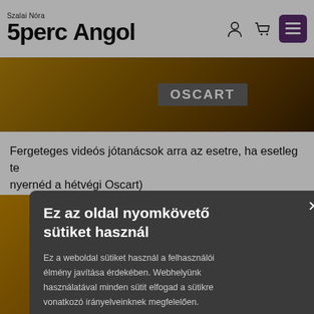[Figure (logo): 5perc Angol logo with Szalai Nóra text above]
[Figure (photo): Golden/dark background image with OSCART text badge, partially visible]
Fergeteges videós jótanácsok arra az esetre, ha esetleg te nyernéd a hétvégi Oscart)
Ez az oldal nyomkövető sütiket használ

Ez a weboldal sütiket használ a felhasználói élmény javítása érdekében. Webhelyünk használatával minden sütit elfogad a sütikre vonatkozó irányelveinknek megfelelően. Részletek

SÜTIK ELFOGADÁSA

SÜTIK KIKAPCSOLÁSA
[Figure (photo): Golden/amber background image, bottom section of page]